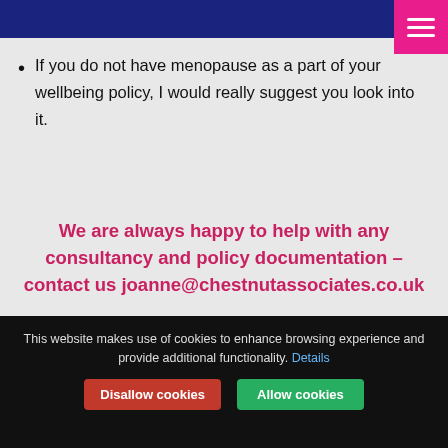If you do not have menopause as a part of your wellbeing policy, I would really suggest you look into it.
We are always happy to help with any consultancy and policy documentation – contact us joanne@chestnutassociates.co.uk
Return to index
[Figure (screenshot): Chat with me today button overlay]
This website makes use of cookies to enhance browsing experience and provide additional functionality. Details
Disallow cookies | Allow cookies